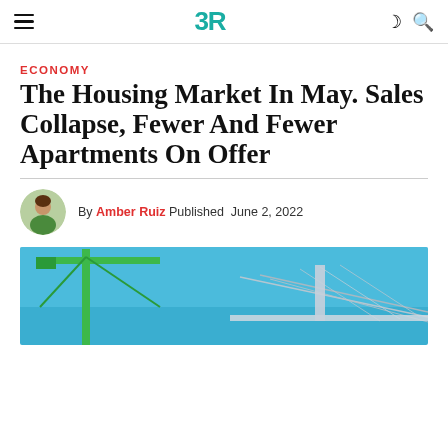≡  3R  ☾ 🔍
ECONOMY
The Housing Market In May. Sales Collapse, Fewer And Fewer Apartments On Offer
By Amber Ruiz  Published  June 2, 2022
[Figure (photo): Construction crane against a blue sky, with a bridge structure visible in the background]